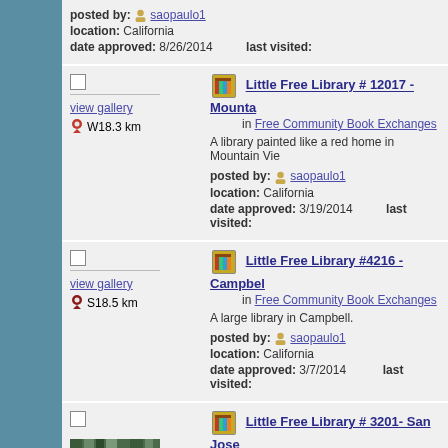posted by: saopaulo1
location: California
date approved: 8/26/2014   last visited:
Little Free Library # 12017 - Mounta... in Free Community Book Exchanges. A library painted like a red home in Mountain Vie... posted by: saopaulo1, location: California, date approved: 3/19/2014, last visited:
Little Free Library #4216 - Campbel... in Free Community Book Exchanges. A large library in Campbell. posted by: saopaulo1, location: California, date approved: 3/7/2014, last visited:
Little Free Library # 3201- San Jose... in Free Community Book Exchanges